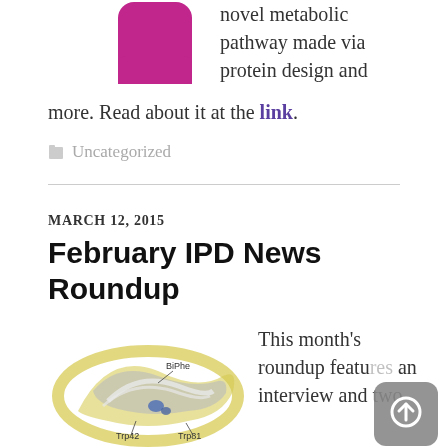[Figure (illustration): Pink rounded square icon (logo/thumbnail)]
novel metabolic pathway made via protein design and more. Read about it at the link.
Uncategorized
MARCH 12, 2015
February IPD News Roundup
[Figure (illustration): 3D protein structure illustration with labels BiPhe, Trp42, Trp81 in yellow and grey ribbons]
This month's roundup features an interview and two